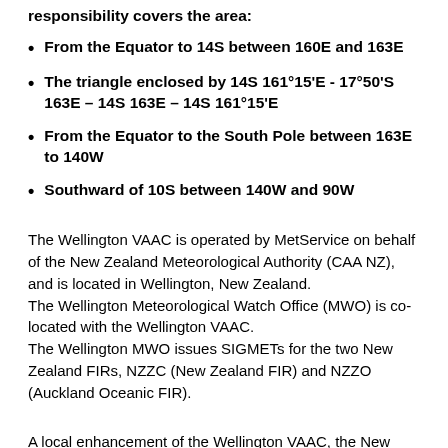responsibility covers the area:
From the Equator to 14S between 160E and 163E
The triangle enclosed by 14S 161°15'E - 17°50'S 163E – 14S 163E – 14S 161°15'E
From the Equator to the South Pole between 163E to 140W
Southward of 10S between 140W and 90W
The Wellington VAAC is operated by MetService on behalf of the New Zealand Meteorological Authority (CAA NZ), and is located in Wellington, New Zealand. The Wellington Meteorological Watch Office (MWO) is co-located with the Wellington VAAC. The Wellington MWO issues SIGMETs for the two New Zealand FIRs, NZZC (New Zealand FIR) and NZZO (Auckland Oceanic FIR).
A local enhancement of the Wellington VAAC, the New Zealand Volcanic Ash Advisory System (VAAS) is